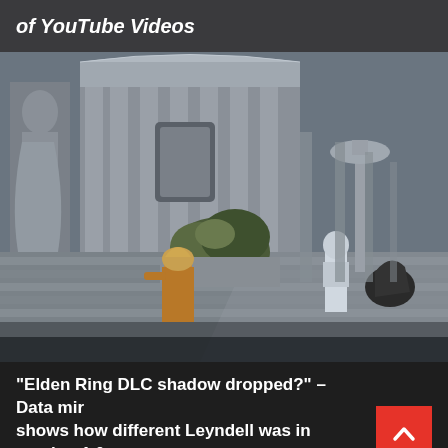of YouTube Videos
[Figure (screenshot): Screenshot from Elden Ring video game showing the Leyndell courtyard area with classical architecture, statues, stone steps, and player characters. A character in ornate robes stands near a plant, while an armored figure stands near a fountain/statue on the right side. The scene has a grey-blue color palette typical of the game.]
“Elden Ring DLC shadow dropped?” – Data mir shows how different Leyndell was in version 1.0